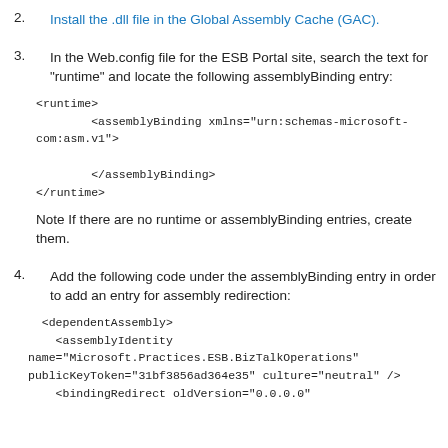2. Install the .dll file in the Global Assembly Cache (GAC).
3. In the Web.config file for the ESB Portal site, search the text for "runtime" and locate the following assemblyBinding entry:
<runtime>
        <assemblyBinding xmlns="urn:schemas-microsoft-com:asm.v1">

        </assemblyBinding>
</runtime>
Note If there are no runtime or assemblyBinding entries, create them.
4. Add the following code under the assemblyBinding entry in order to add an entry for assembly redirection:
<dependentAssembly>
    <assemblyIdentity
name="Microsoft.Practices.ESB.BizTalkOperations"
publicKeyToken="31bf3856ad364e35" culture="neutral" />
    <bindingRedirect oldVersion="0.0.0.0"